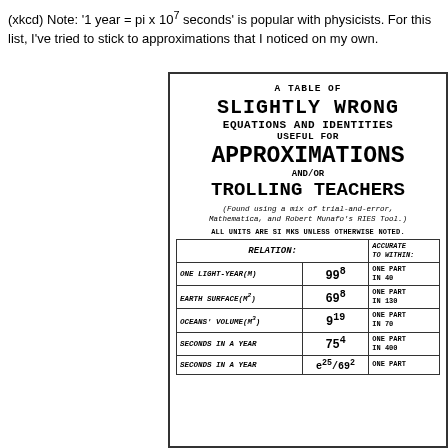(xkcd) Note: '1 year = pi x 10^7 seconds' is popular with physicists. For this list, I've tried to stick to approximations that I noticed on my own.
[Figure (illustration): xkcd comic panel: 'A Table of Slightly Wrong Equations and Identities Useful for Approximations and/or Trolling Teachers (Found using a mix of trial-and-error, Mathematica, and Robert Munafo's RIES tool.) All units are SI mks unless otherwise noted.' followed by a table with columns RELATION, value (exponent form), and ACCURATE TO WITHIN, showing rows: ONE LIGHT-YEAR(m) = 99^8 (one part in 40), EARTH SURFACE(m^2) = 69^8 (one part in 130), OCEANS' VOLUME(m^3) = 9^19 (one part in 70), SECONDS IN A YEAR = 75^4 (one part in 400), SECONDS IN A YEAR = (partial, cut off).]